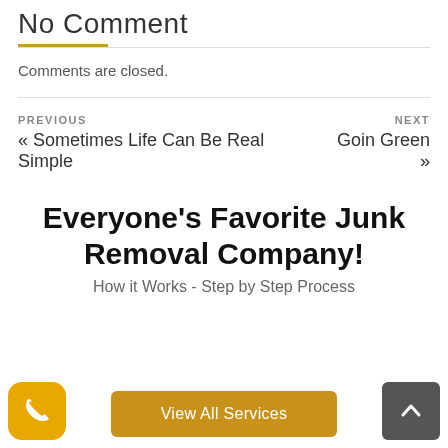No Comment
Comments are closed.
PREVIOUS
« Sometimes Life Can Be Real Simple
NEXT
Goin Green »
Everyone's Favorite Junk Removal Company!
How it Works - Step by Step Process
View All Services